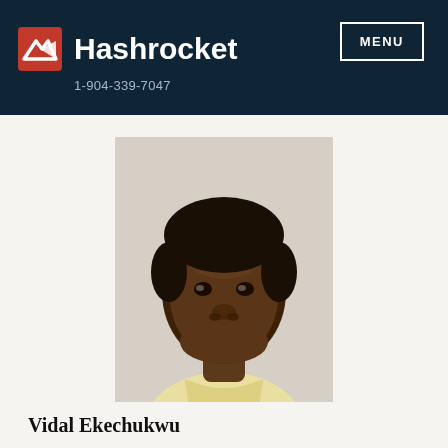Hashrocket  1-904-339-7047  MENU
[Figure (photo): Headshot portrait of a young man with short black hair wearing a light yellow collared shirt against a neutral gray background]
Vidal Ekechukwu